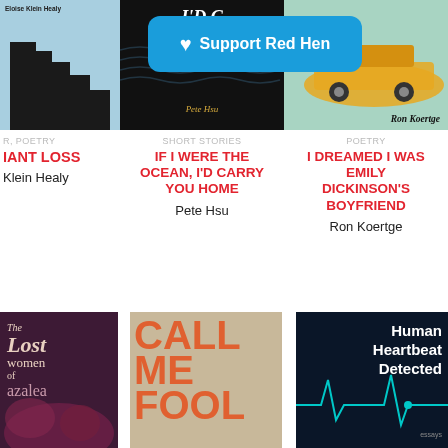[Figure (photo): Book cover: blue background with staircase silhouette, author name Eloise Klein Healy at top]
[Figure (photo): Book cover: dark background with wavy water lines, text I'D CARRY YOU HOME, author Pete Hsu in gold italic]
[Figure (photo): Book cover: teal/mint green with vintage yellow car and legs, author Ron Koertge]
[Figure (screenshot): Support Red Hen button overlay in blue with heart icon]
R, POETRY
IANT LOSS
Klein Healy
SHORT STORIES
IF I WERE THE OCEAN, I'D CARRY YOU HOME
Pete Hsu
POETRY
I DREAMED I WAS EMILY DICKINSON'S BOYFRIEND
Ron Koertge
[Figure (photo): Book cover: dark purple/maroon, The Lost Women of Azalea with floral imagery]
[Figure (photo): Book cover: tan/brown, CALL ME FOOL in large orange text with surreal figure]
[Figure (photo): Book cover: dark navy, Human Heartbeat Detected in white text with teal heartbeat line graphic]